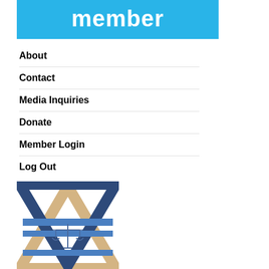member
About
Contact
Media Inquiries
Donate
Member Login
Log Out
BETH DIN
[Figure (logo): Beth Din logo: Star of David made of overlapping tan and dark blue triangles with horizontal blue bars across the middle, and scales of justice icon in the center]